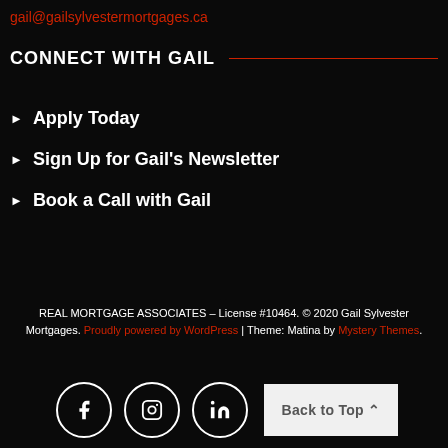gail@gailsylvestermortgages.ca
CONNECT WITH GAIL
Apply Today
Sign Up for Gail's Newsletter
Book a Call with Gail
REAL MORTGAGE ASSOCIATES – License #10464. © 2020 Gail Sylvester Mortgages. Proudly powered by WordPress | Theme: Matina by Mystery Themes.
[Figure (infographic): Social media icon buttons (Facebook, Instagram, LinkedIn) and a Back to Top button]